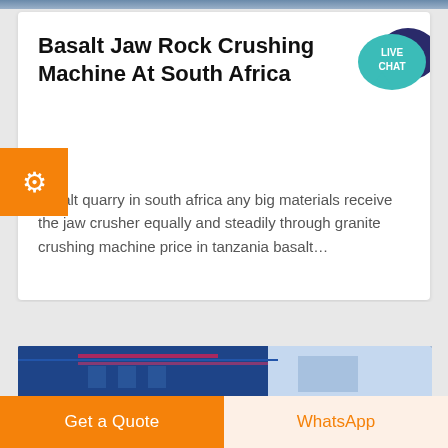[Figure (photo): Top image strip showing industrial/construction machinery scene]
Basalt Jaw Rock Crushing Machine At South Africa
[Figure (illustration): Live Chat speech bubble icon in teal/blue colors with dark blue chat bubble behind]
basalt quarry in south africa any big materials receive the jaw crusher equally and steadily through granite crushing machine price in tanzania basalt…
[Figure (photo): Bottom partial photo of industrial building with blue metal cladding and red/magenta stripe]
Get a Quote
WhatsApp